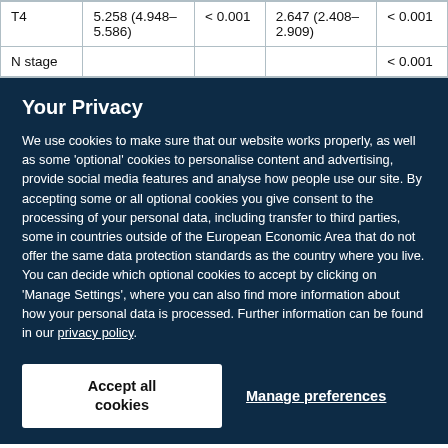| T4 | 5.258 (4.948–5.586) | < 0.001 | 2.647 (2.408–2.909) | < 0.001 |
| N stage |  |  |  | < 0.001 |
Your Privacy
We use cookies to make sure that our website works properly, as well as some 'optional' cookies to personalise content and advertising, provide social media features and analyse how people use our site. By accepting some or all optional cookies you give consent to the processing of your personal data, including transfer to third parties, some in countries outside of the European Economic Area that do not offer the same data protection standards as the country where you live. You can decide which optional cookies to accept by clicking on 'Manage Settings', where you can also find more information about how your personal data is processed. Further information can be found in our privacy policy.
Accept all cookies
Manage preferences